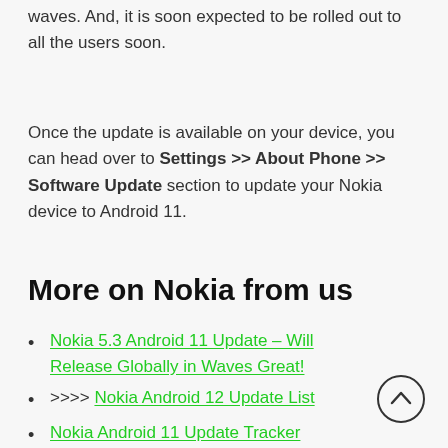waves. And, it is soon expected to be rolled out to all the users soon.
Once the update is available on your device, you can head over to Settings >> About Phone >> Software Update section to update your Nokia device to Android 11.
More on Nokia from us
Nokia 5.3 Android 11 Update – Will Release Globally in Waves Great!
>>>> Nokia Android 12 Update List
Nokia Android 11 Update Tracker